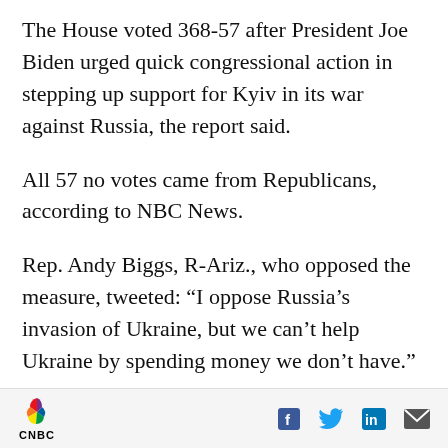The House voted 368-57 after President Joe Biden urged quick congressional action in stepping up support for Kyiv in its war against Russia, the report said.
All 57 no votes came from Republicans, according to NBC News.
Rep. Andy Biggs, R-Ariz., who opposed the measure, tweeted: “I oppose Russia’s invasion of Ukraine, but we can’t help Ukraine by spending money we don’t have.”
House Speaker Nancy Pelosi, D-Calif., praised the largely bipartisan vote, saying on Twitter that
CNBC [logo] [Facebook] [Twitter] [LinkedIn] [Email]